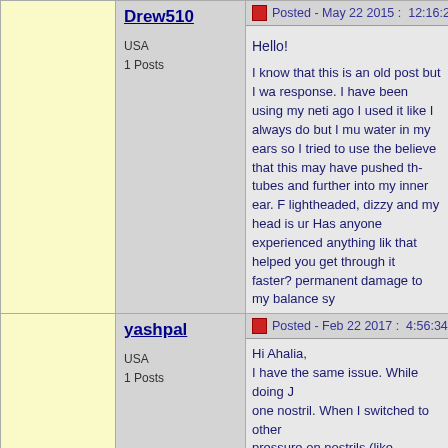Drew510
USA
1 Posts
Posted - May 22 2015 :  12:16:27 PM
Hello!

I know that this is an old post but I wa response. I have been using my neti ago I used it like I always do but I mu water in my ears so I tried to use the believe that this may have pushed th tubes and further into my inner ear. F lightheaded, dizzy and my head is ur Has anyone experienced anything lik that helped you get through it faster? permanent damage to my balance sy
yashpal
USA
1 Posts
Posted - Feb 22 2017 :  4:56:34 PM
Hi Ahalia,
I have the same issue. While doing J one nostril. When I switched to other pressure on nostrils (like breathing o while doing it, some water went into r full in my right ear.

You suggested to use Amaroli drops. steps.